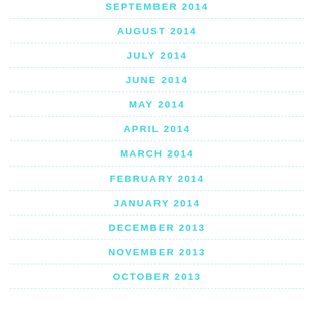SEPTEMBER 2014
AUGUST 2014
JULY 2014
JUNE 2014
MAY 2014
APRIL 2014
MARCH 2014
FEBRUARY 2014
JANUARY 2014
DECEMBER 2013
NOVEMBER 2013
OCTOBER 2013